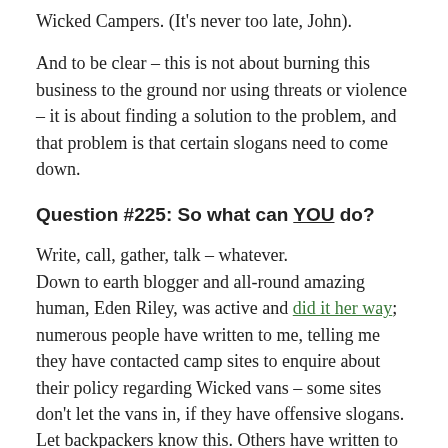Wicked Campers. (It's never too late, John).
And to be clear – this is not about burning this business to the ground nor using threats or violence – it is about finding a solution to the problem, and that problem is that certain slogans need to come down.
Question #225: So what can YOU do?
Write, call, gather, talk – whatever.
Down to earth blogger and all-round amazing human, Eden Riley, was active and did it her way; numerous people have written to me, telling me they have contacted camp sites to enquire about their policy regarding Wicked vans – some sites don't let the vans in, if they have offensive slogans. Let backpackers know this. Others have written to their political reps.
And today I applaud the women who are going to tackle